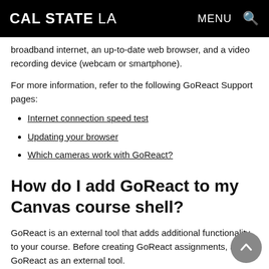CAL STATE LA  MENU 🔍
broadband internet, an up-to-date web browser, and a video recording device (webcam or smartphone).
For more information, refer to the following GoReact Support pages:
Internet connection speed test
Updating your browser
Which cameras work with GoReact?
How do I add GoReact to my Canvas course shell?
GoReact is an external tool that adds additional functionality to your course. Before creating GoReact assignments, add GoReact as an external tool.
Ask CalStateLA - CETL